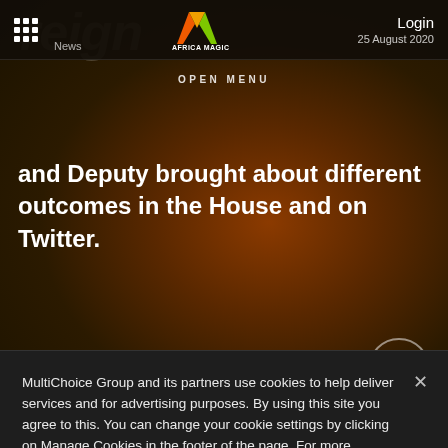[Figure (screenshot): Africa Magic website header with logo, navigation bar showing 'News' and date '25 August 2020', Login button, and grid menu icon. Dark background with orange/red gradient hero area showing partial text 'reign' and headline text 'and Deputy brought about different outcomes in the House and on Twitter.' A share button circle is visible.]
OPEN MENU
and Deputy brought about different outcomes in the House and on Twitter.
MultiChoice Group and its partners use cookies to help deliver services and for advertising purposes. By using this site you agree to this. You can change your cookie settings by clicking on Manage Cookies in the footer of the page. For more information, see our Privacy Policy